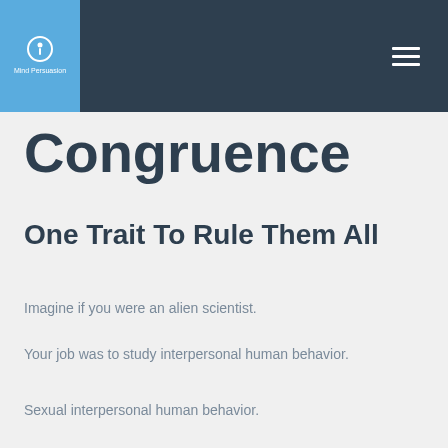Mind Persuasion
Congruence
One Trait To Rule Them All
Imagine if you were an alien scientist.
Your job was to study interpersonal human behavior.
Sexual interpersonal human behavior.